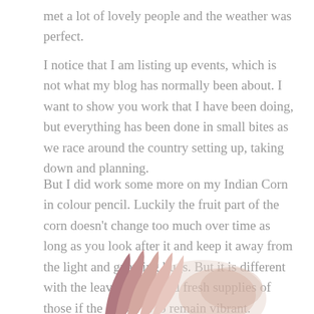met a lot of lovely people and the weather was perfect.
I notice that I am listing up events, which is not what my blog has normally been about. I want to show you work that I have been doing, but everything has been done in small bites as we race around the country setting up, taking down and planning.
But I did work some more on my Indian Corn in colour pencil. Luckily the fruit part of the corn doesn't change too much over time as long as you look after it and keep it away from the light and gnawing bugs. But it is different with the leaves. I do need fresh supplies of those if the colour is to remain vibrant.
[Figure (illustration): Partial view of an Indian Corn drawing in colour pencil, showing pink/mauve corn husks and kernels at the bottom of the page.]